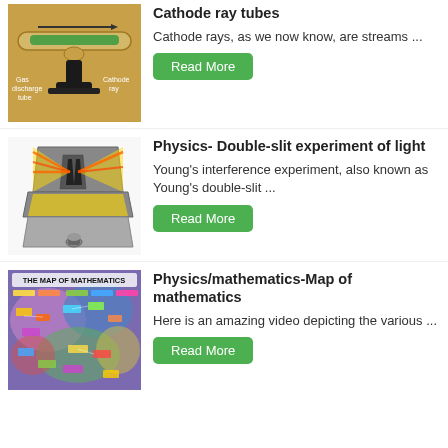[Figure (photo): Cathode ray tube diagram showing a glass tube with gas discharge tube and cathode ray labels, tan/amber warm background]
Cathode ray tubes
Cathode rays, as we now know, are streams ...
Read More
[Figure (photo): 3D diagram of double-slit experiment showing yellow light passing through slits creating interference pattern, with a flashlight at the bottom]
Physics- Double-slit experiment of light
Young's interference experiment, also known as Young's double-slit ...
Read More
[Figure (infographic): The Map of Mathematics colorful infographic showing various branches and connections in mathematics, purple/blue/pink background with text and diagrams]
Physics/mathematics-Map of mathematics
Here is an amazing video depicting the various ...
Read More